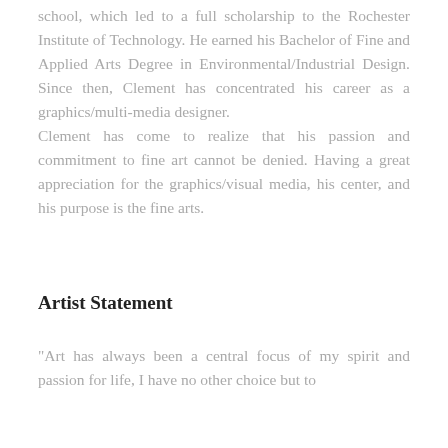school, which led to a full scholarship to the Rochester Institute of Technology. He earned his Bachelor of Fine and Applied Arts Degree in Environmental/Industrial Design. Since then, Clement has concentrated his career as a graphics/multi-media designer.
Clement has come to realize that his passion and commitment to fine art cannot be denied. Having a great appreciation for the graphics/visual media, his center, and his purpose is the fine arts.
Artist Statement
"Art has always been a central focus of my spirit and passion for life, I have no other choice but to